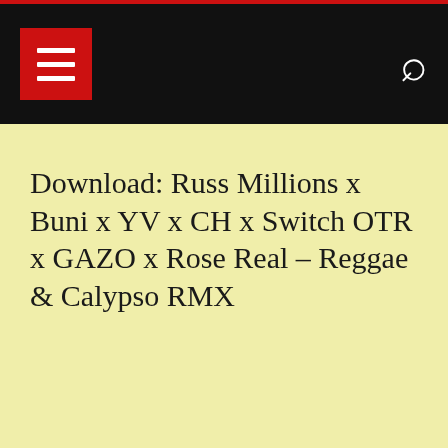Download: Russ Millions x Buni x YV x CH x Switch OTR x GAZO x Rose Real – Reggae & Calypso RMX